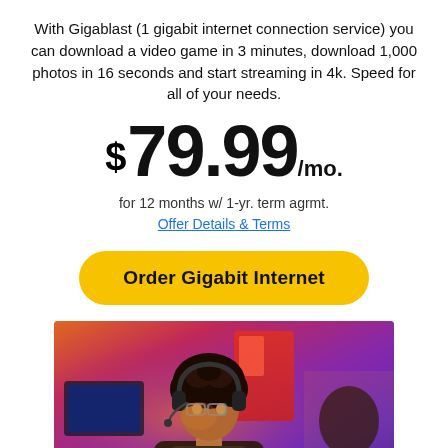With Gigablast (1 gigabit internet connection service) you can download a video game in 3 minutes, download 1,000 photos in 16 seconds and start streaming in 4k. Speed for all of your needs.
$79.99/mo.
for 12 months w/ 1-yr. term agrmt.
Offer Details & Terms
Order Gigabit Internet
[Figure (photo): Person with curly hair wearing a gaming headset, sitting in front of monitors in a purple/pink neon-lit gaming room environment.]